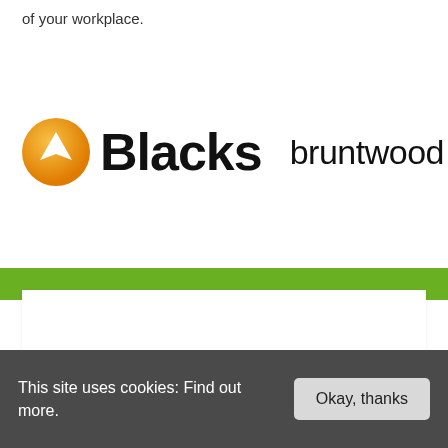of your workplace.
[Figure (logo): Blacks logo with orange circle containing white upward arrow, followed by 'Blacks' in bold black text, and 'bruntwood' in normal black text with a red oval dot to its right]
SHOP FRONTS
This site uses cookies: Find out more.